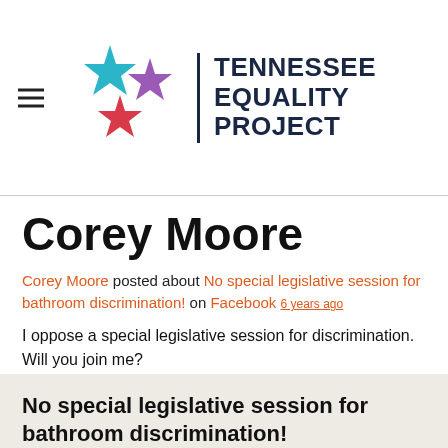[Figure (logo): Tennessee Equality Project logo with three stars (teal, purple, red) and organization name]
Corey Moore
Corey Moore posted about No special legislative session for bathroom discrimination! on Facebook 6 years ago
I oppose a special legislative session for discrimination. Will you join me?
No special legislative session for bathroom discrimination!
On the evening of May 17, The Tennessean and The